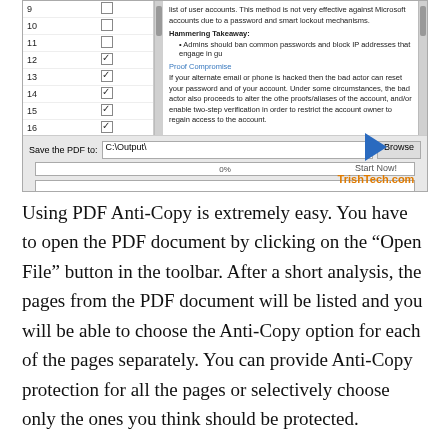[Figure (screenshot): Screenshot of PDF Anti-Copy software interface showing a page list with checkboxes (rows 9-18, row 17 highlighted in blue), a content preview panel on the right with text about password hacking and 'Proof Compromise', a save path field showing C:\Output\, a Browse button, a progress bar at 0%, and a Start Now! button with TrishTech.com branding.]
Using PDF Anti-Copy is extremely easy. You have to open the PDF document by clicking on the “Open File” button in the toolbar. After a short analysis, the pages from the PDF document will be listed and you will be able to choose the Anti-Copy option for each of the pages separately. You can provide Anti-Copy protection for all the pages or selectively choose only the ones you think should be protected.
After choosing the output folder where the protected